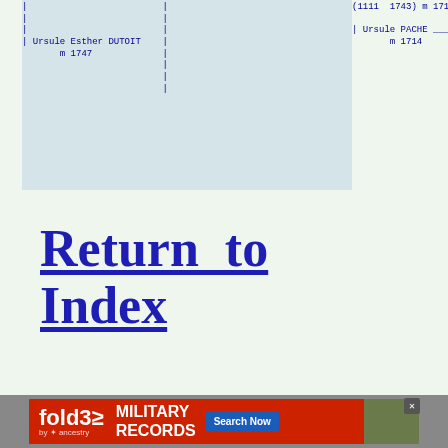[Figure (other): Genealogy family tree diagram showing Ursule Esther DUTOIT (m 1747) and Ursule PACHE (m 1714) with connecting lines, partially cropped at top and right edges]
Return to Index
[Figure (other): fold3 by Ancestry advertisement banner - Military Records, Search Now button]